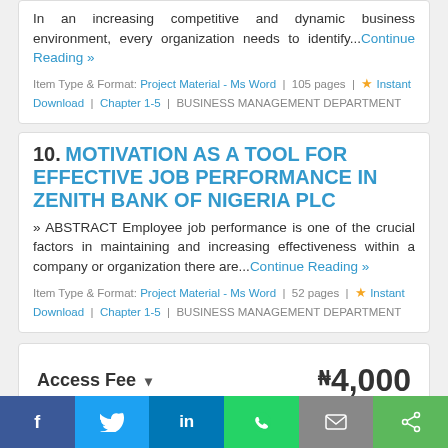In an increasing competitive and dynamic business environment, every organization needs to identify...Continue Reading »
Item Type & Format: Project Material - Ms Word | 105 pages | ★ Instant Download | Chapter 1-5 | BUSINESS MANAGEMENT DEPARTMENT
10. MOTIVATION AS A TOOL FOR EFFECTIVE JOB PERFORMANCE IN ZENITH BANK OF NIGERIA PLC
» ABSTRACT Employee job performance is one of the crucial factors in maintaining and increasing effectiveness within a company or organization there are...Continue Reading »
Item Type & Format: Project Material - Ms Word | 52 pages | ★ Instant Download | Chapter 1-5 | BUSINESS MANAGEMENT DEPARTMENT
Access Fee ▾ ₦4,000